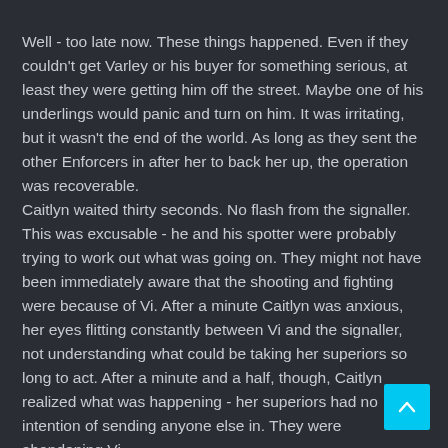Well - too late now. These things happened. Even if they couldn't get Varley or his buyer for something serious, at least they were getting him off the street. Maybe one of his underlings would panic and turn on him. It was irritating, but it wasn't the end of the world. As long as they sent the other Enforcers in after her to back her up, the operation was recoverable.
Caitlyn waited thirty seconds. No flash from the signaller. This was excusable - he and his spotter were probably trying to work out what was going on. They might not have been immediately aware that the shooting and fighting were because of Vi. After a minute Caitlyn was anxious, her eyes flitting constantly between Vi and the signaller, not understanding what could be taking her superiors so long to act. After a minute and a half, though, Caitlyn realized what was happening - her superiors had no intention of sending anyone else in. They were abandoning Vi.